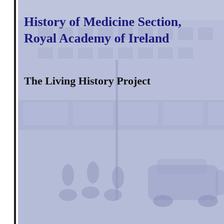[Figure (photo): Faded blue-tinted vintage street scene showing pedestrians on bicycles, old cars, and storefronts, used as a background image for the document cover page.]
History of Medicine Section, Royal Academy of Ireland
The Living History Project